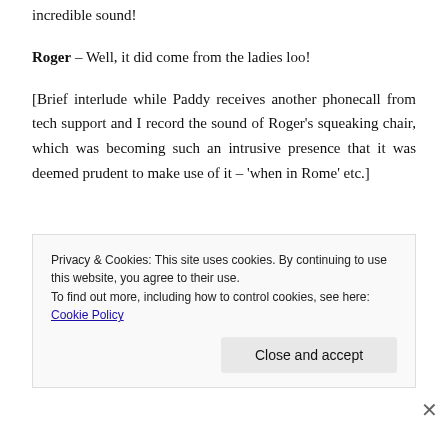incredible sound!
Roger – Well, it did come from the ladies loo!
[Brief interlude while Paddy receives another phonecall from tech support and I record the sound of Roger's squeaking chair, which was becoming such an intrusive presence that it was deemed prudent to make use of it – 'when in Rome' etc.]
Privacy & Cookies: This site uses cookies. By continuing to use this website, you agree to their use.
To find out more, including how to control cookies, see here: Cookie Policy
Close and accept